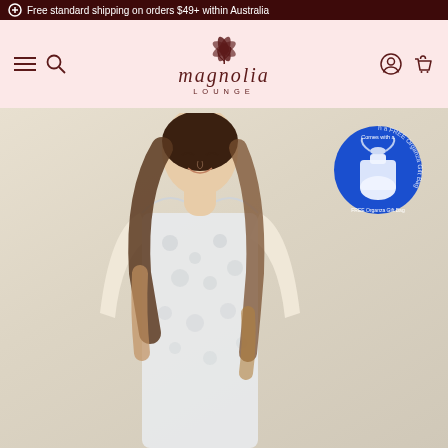Free standard shipping on orders $49+ within Australia
[Figure (logo): Magnolia Lounge brand logo with magnolia flower illustration above the text 'magnolia LOUNGE' in dark rose/burgundy color on a pink background]
[Figure (photo): A woman with long brunette-to-blonde ombre hair, eyes closed and smiling, wearing a sleeveless floral print top/nightgown in light grey and white. Background is a warm beige/taupe. In the upper right corner is a blue circular badge showing a white organza gift bag with text 'Comes with a FREE Organza Gift Bag']